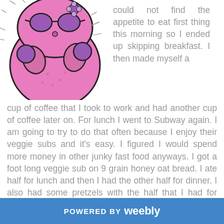[Figure (illustration): A cartoon pink monster/character with arms crossed and sunglasses, drawn in a comic style with black outlines and pink fill with purple details]
could not find the appetite to eat first thing this morning so I ended up skipping breakfast. I then made myself a cup of coffee that I took to work and had another cup of coffee later on. For lunch I went to Subway again. I am going to try to do that often because I enjoy their veggie subs and it's easy. I figured I would spend more money in other junky fast food anyways. I got a foot long veggie sub on 9 grain honey oat bread. I ate half for lunch and then I had the other half for dinner. I also had some pretzels with the half that I had for dinner. I get every veggie on it besides jalapenos and banana peppers. I like that I get all my veggies in and it keeps
POWERED BY weebly